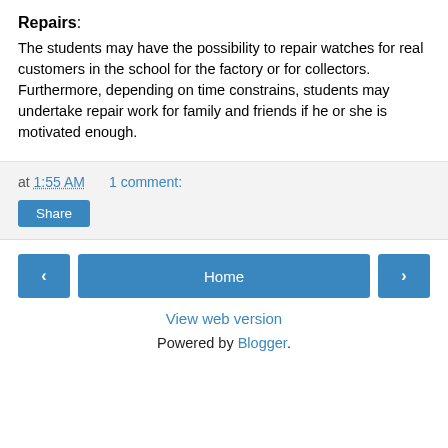Repairs:
The students may have the possibility to repair watches for real customers in the school for the factory or for collectors. Furthermore, depending on time constrains, students may undertake repair work for family and friends if he or she is motivated enough.
at 1:55 AM   1 comment:
Share
‹   Home   ›
View web version
Powered by Blogger.